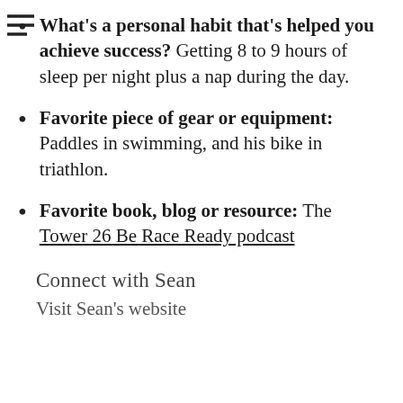What's a personal habit that's helped you achieve success? Getting 8 to 9 hours of sleep per night plus a nap during the day.
Favorite piece of gear or equipment: Paddles in swimming, and his bike in triathlon.
Favorite book, blog or resource: The Tower 26 Be Race Ready podcast
Connect with Sean
Visit Sean's website